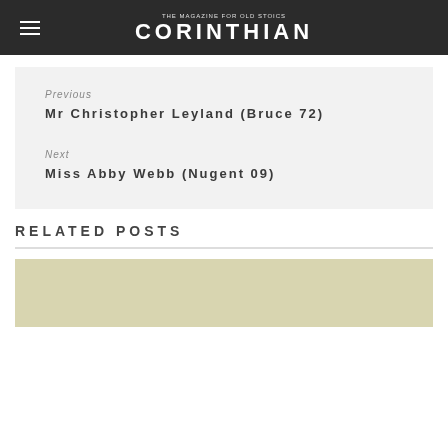CORINTHIAN - THE MAGAZINE FOR OLD STOICS
Previous
Mr Christopher Leyland (Bruce 72)
Next
Miss Abby Webb (Nugent 09)
RELATED POSTS
[Figure (photo): Beige/tan colored placeholder image for a related post thumbnail]